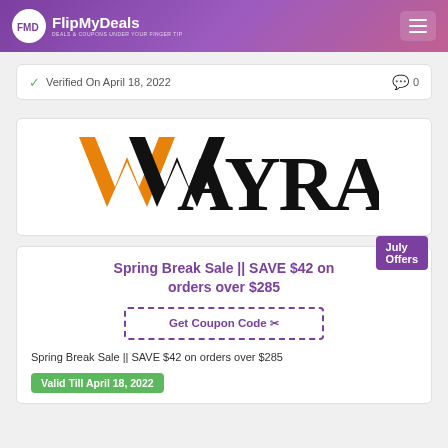FlipMyDeals — DEALS & COUPONS UNDER YOUR FINGER TIP
Verified On April 18, 2022  0
[Figure (logo): Wayrates brand logo — large stylized text WAYRATES with orange and black lettering]
Spring Break Sale || SAVE $42 on orders over $285
Get Coupon Code
Spring Break Sale || SAVE $42 on orders over $285
Valid Till April 18, 2022